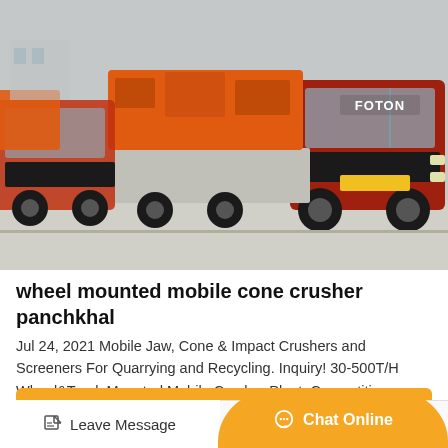[Figure (photo): Orange mobile cone crusher and screening plant units loaded on red FOTON trucks/trailers lined up on a concrete yard, overcast sky in background.]
wheel mounted mobile cone crusher panchkhal
Jul 24, 2021 Mobile Jaw, Cone & Impact Crushers and Screeners For Quarrying and Recycling. Inquiry! 30-500T/H Wheel&Track Mounted Mobile Crusher Plant. Competitive Pricing. Contact Now! Office &...
GET PRICE
Leave Message
Chat Online